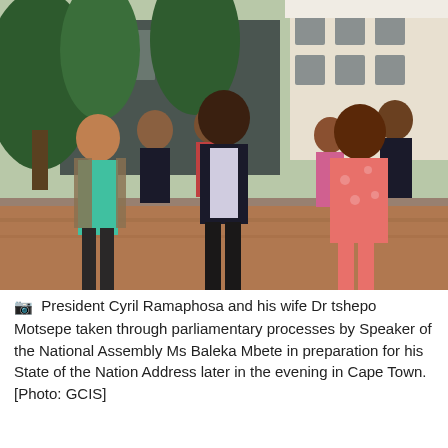[Figure (photo): A group of people walking outdoors at a parliamentary building courtyard. In the foreground, a man in a dark suit (President Cyril Ramaphosa) walks in the center, flanked by a woman in a teal top with a floral jacket on his left, and a woman in a coral/pink dress on his right. Several officials and security personnel in dark suits are visible in the background, along with lush tropical trees and a white colonial building.]
President Cyril Ramaphosa and his wife Dr tshepo Motsepe taken through parliamentary processes by Speaker of the National Assembly Ms Baleka Mbete in preparation for his State of the Nation Address later in the evening in Cape Town. [Photo: GCIS]